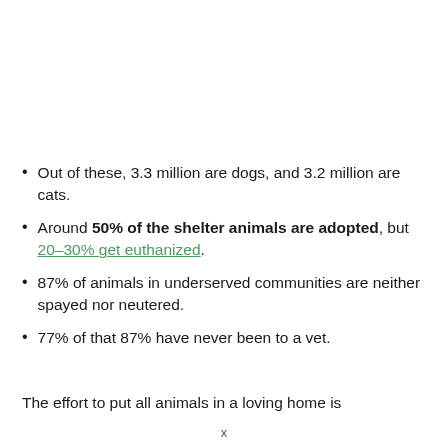Out of these, 3.3 million are dogs, and 3.2 million are cats.
Around 50% of the shelter animals are adopted, but 20–30% get euthanized.
87% of animals in underserved communities are neither spayed nor neutered.
77% of that 87% have never been to a vet.
The effort to put all animals in a loving home is
x